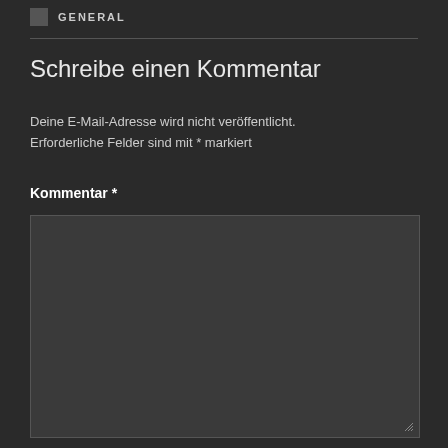GENERAL
Schreibe einen Kommentar
Deine E-Mail-Adresse wird nicht veröffentlicht. Erforderliche Felder sind mit * markiert
Kommentar *
[Figure (other): Empty comment textarea input box with dark background and resize handle]